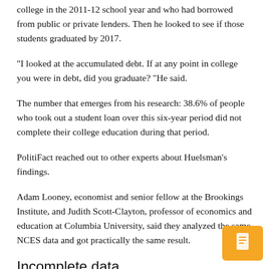college in the 2011-12 school year and who had borrowed from public or private lenders. Then he looked to see if those students graduated by 2017.
“I looked at the accumulated debt. If at any point in college you were in debt, did you graduate? ”He said.
The number that emerges from his research: 38.6% of people who took out a student loan over this six-year period did not complete their college education during that period.
PolitiFact reached out to other experts about Huelsman’s findings.
Adam Looney, economist and senior fellow at the Brookings Institute, and Judith Scott-Clayton, professor of economics and education at Columbia University, said they analyzed the same NCES data and got practically the same result.
Incomplete data
Of course, Huelsman’s analysis is only a snapshot of a period of time. Experts from the NCES and the Urban Institute, a non-partisan think